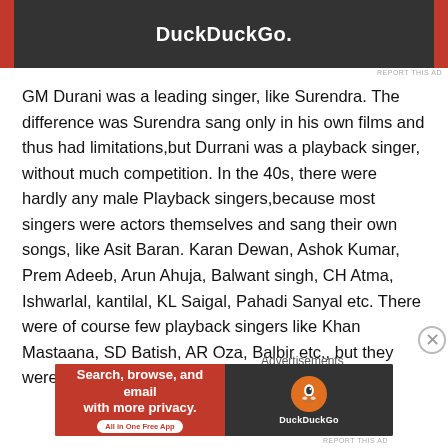[Figure (screenshot): DuckDuckGo advertisement banner at top, dark background with orange side bars and white DuckDuckGo text]
GM Durani was a leading singer, like Surendra. The difference was Surendra sang only in his own films and thus had limitations,but Durrani was a playback singer, without much competition. In the 40s, there were hardly any male Playback singers,because most singers were actors themselves and sang their own songs, like Asit Baran. Karan Dewan, Ashok Kumar, Prem Adeeb, Arun Ahuja, Balwant singh, CH Atma, Ishwarlal, kantilal, KL Saigal, Pahadi Sanyal etc. There were of course few playback singers like Khan Mastaana, SD Batish, AR Oza, Balbir etc., but they were no competition to Durrani at all.
Advertisements
[Figure (screenshot): DuckDuckGo advertisement banner at bottom with Search, browse, and email with more privacy. All in One Free App]